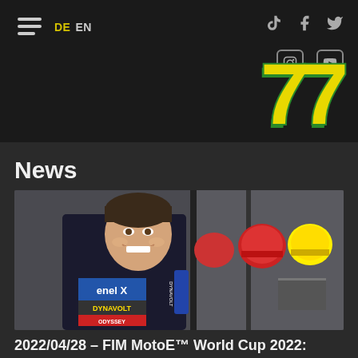DE EN | Navigation header with social icons and 77 logo
News
[Figure (photo): A motorcycle racer in black, blue and white leathers with Enel X, Dynavolt, Odyssey and Grinta branding, smiling in a pit garage with helmets and equipment visible in the background]
2022/04/28 – FIM MotoE™ World Cup 2022: Gran